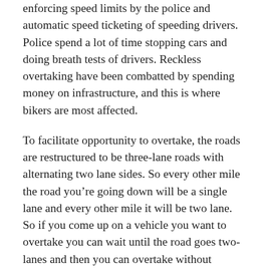enforcing speed limits by the police and automatic speed ticketing of speeding drivers. Police spend a lot of time stopping cars and doing breath tests of drivers. Reckless overtaking have been combatted by spending money on infrastructure, and this is where bikers are most affected.
To facilitate opportunity to overtake, the roads are restructured to be three-lane roads with alternating two lane sides. So every other mile the road you’re going down will be a single lane and every other mile it will be two lane. So if you come up on a vehicle you want to overtake you can wait until the road goes two-lanes and then you can overtake without risking a head on collision with a vehicle coming from the other direction. These 2+1-lane roads have